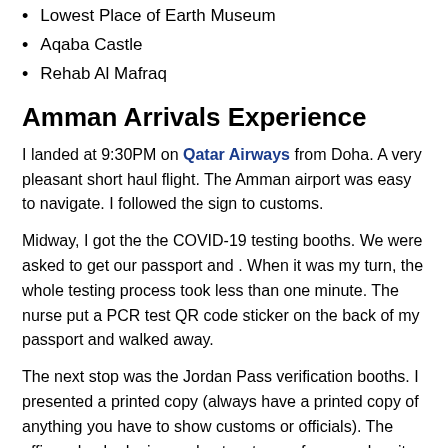Lowest Place of Earth Museum
Aqaba Castle
Rehab Al Mafraq
Amman Arrivals Experience
I landed at 9:30PM on Qatar Airways from Doha. A very pleasant short haul flight. The Amman airport was easy to navigate. I followed the sign to customs.
Midway, I got the the COVID-19 testing booths. We were asked to get our passport and . When it was my turn, the whole testing process took less than one minute. The nurse put a PCR test QR code sticker on the back of my passport and walked away.
The next stop was the Jordan Pass verification booths. I presented a printed copy (always have a printed copy of anything you have to show customs or officials). The officer checked mine and put a stamp of approval on it.